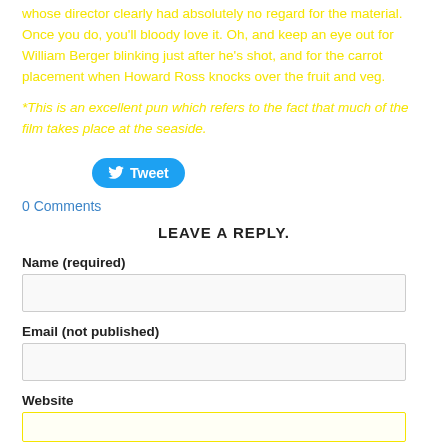whose director clearly had absolutely no regard for the material. Once you do, you'll bloody love it. Oh, and keep an eye out for William Berger blinking just after he's shot, and for the carrot placement when Howard Ross knocks over the fruit and veg.
*This is an excellent pun which refers to the fact that much of the film takes place at the seaside.
[Figure (other): Twitter Tweet button]
0 Comments
LEAVE A REPLY.
Name (required)
Email (not published)
Website